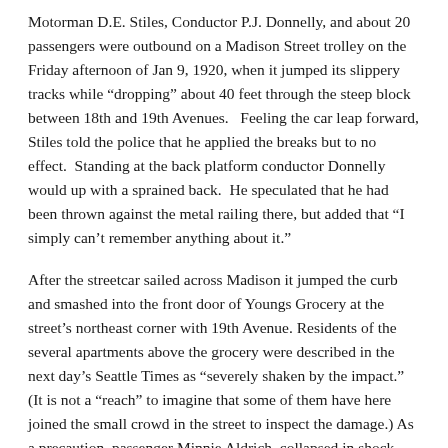Motorman D.E. Stiles, Conductor P.J. Donnelly, and about 20 passengers were outbound on a Madison Street trolley on the Friday afternoon of Jan 9, 1920, when it jumped its slippery tracks while "dropping" about 40 feet through the steep block between 18th and 19th Avenues.   Feeling the car leap forward, Stiles told the police that he applied the breaks but to no effect.  Standing at the back platform conductor Donnelly would up with a sprained back.  He speculated that he had been thrown against the metal railing there, but added that "I simply can't remember anything about it."
After the streetcar sailed across Madison it jumped the curb and smashed into the front door of Youngs Grocery at the street's northeast corner with 19th Avenue. Residents of the several apartments above the grocery were described in the next day's Seattle Times as "severely shaken by the impact."  (It is not a "reach" to imagine that some of them have here joined the small crowd in the street to inspect the damage.) As a precaution, passenger Minnie Aldrich, collapsed in shock from